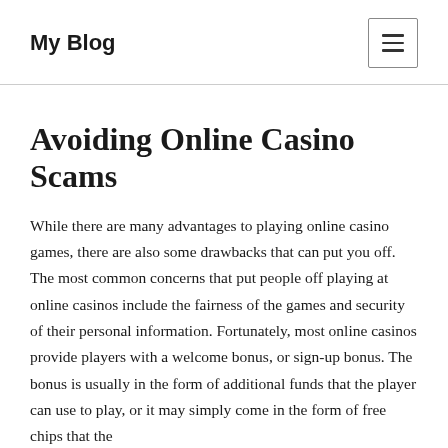My Blog
Avoiding Online Casino Scams
While there are many advantages to playing online casino games, there are also some drawbacks that can put you off. The most common concerns that put people off playing at online casinos include the fairness of the games and security of their personal information. Fortunately, most online casinos provide players with a welcome bonus, or sign-up bonus. The bonus is usually in the form of additional funds that the player can use to play, or it may simply come in the form of free chips that the